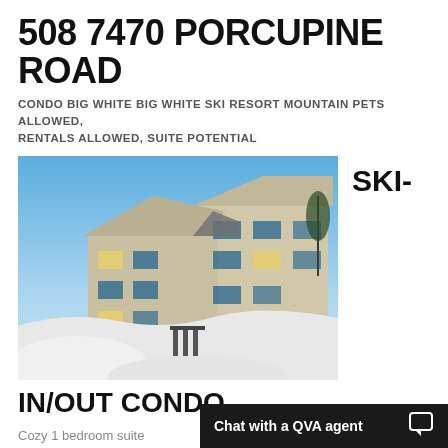508 7470 PORCUPINE ROAD
CONDO BIG WHITE BIG WHITE SKI RESORT MOUNTAIN PETS ALLOWED, RENTALS ALLOWED, SUITE POTENTIAL
[Figure (photo): Exterior photo of a ski resort condo building with snow, blue sky background, beige/tan multi-level building]
SKI-
IN/OUT CONDO
Cozy 1 bedroom suite
Chat with a QVA agent